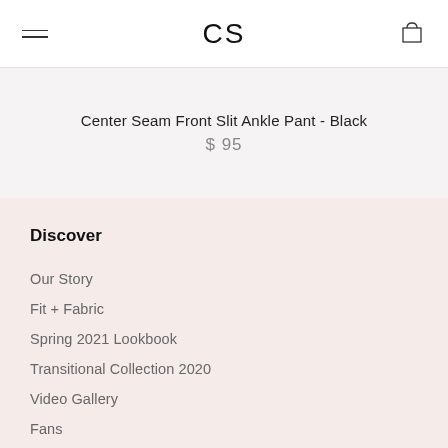CS
Center Seam Front Slit Ankle Pant - Black
$ 95
Discover
Our Story
Fit + Fabric
Spring 2021 Lookbook
Transitional Collection 2020
Video Gallery
Fans
Blog - Fashion Tips!